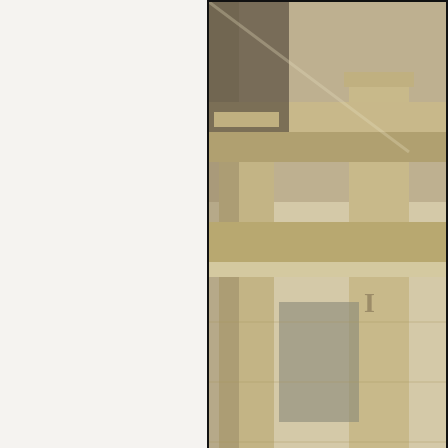[Figure (photo): Partial view of a neoclassical building facade with stone columns and architectural details, cropped at right edge of page]
I wonde
[Figure (photo): Partial view of a second framed photo showing blue sky, cropped at right and bottom edge of page]